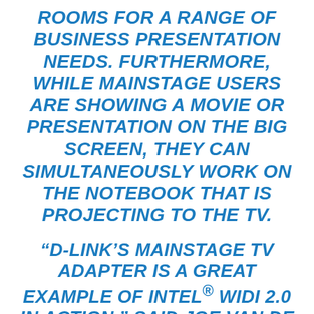ROOMS FOR A RANGE OF BUSINESS PRESENTATION NEEDS. FURTHERMORE, WHILE MAINSTAGE USERS ARE SHOWING A MOVIE OR PRESENTATION ON THE BIG SCREEN, THEY CAN SIMULTANEOUSLY WORK ON THE NOTEBOOK THAT IS PROJECTING TO THE TV.
“D-LINK’S MAINSTAGE TV ADAPTER IS A GREAT EXAMPLE OF INTEL® WIDI 2.0 IN ACTION,” SAID JOE VAN DE WATER, CONSUMER PRODUCT MARKETING MANAGER AT INTEL. “INTEL WIDI 2.0 LETS YOU WIRELESSLY STREAM CONTENT FROM YOUR PC TO YOUR HDTV WITH NO CABLES